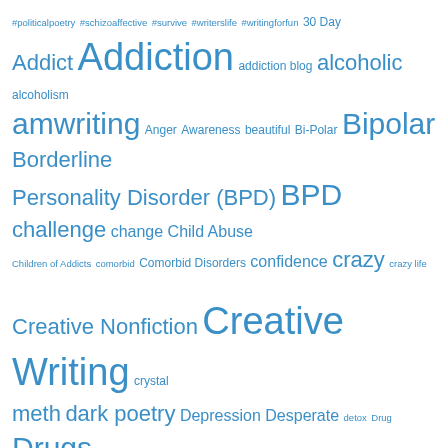[Figure (infographic): Tag cloud / word cloud with mental health, addiction, and creative writing related tags in varying font sizes, all in blue color on white background. Terms include: #politicalpoetry #schizoaffective #survive #writerslife #writingforfun 30 Day Addict Addiction addiction blog alcoholic alcoholism amwriting Anger Awareness beautiful Bi-Polar Bipolar Borderline Personality Disorder (BPD) BPD challenge change Child Abuse Children of Addicts comorbid Comorbid Disorders confidence crazy crazy life Creative Nonfiction Creative Writing crystal meth dark poetry Depression Desperate detox Drug Drugs Dual Diagnoses experimental Flash Fiction forgiveness freedom Friendship fun with words haiku Happiness happy Heartbreak heroin Homeless Hope Hopeless Hunter S. Thompson insane insanity Insomnia inspiration Inspire Intensity Jail joy Lies Life loss love Love & Marriage love yourself Mania Manic Depression Marriage melting neurons Meltingneurons Memoir]